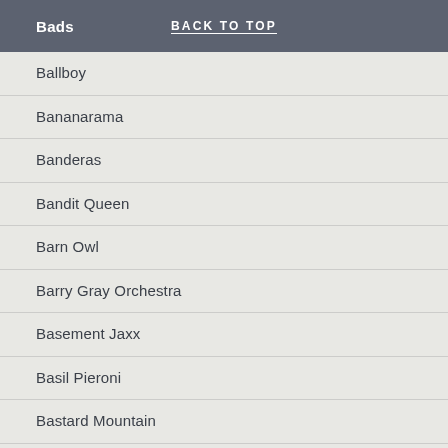Bads  BACK TO TOP
Ballboy
Bananarama
Banderas
Bandit Queen
Barn Owl
Barry Gray Orchestra
Basement Jaxx
Basil Pieroni
Bastard Mountain
Bathers
Bats
Bauhaus